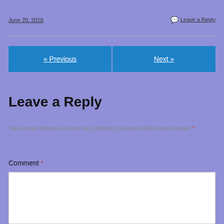June 20, 2018
Leave a Reply
« Previous
Next »
Leave a Reply
Your email address will not be published. Required fields are marked *
Comment *